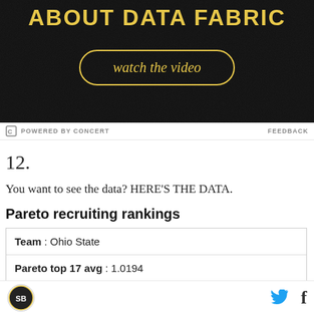[Figure (screenshot): Dark advertisement banner with yellow text 'ABOUT DATA FABRIC' and a yellow-outlined pill button reading 'watch the video' on a black textured background.]
POWERED BY CONCERT    FEEDBACK
12.
You want to see the data? HERE'S THE DATA.
Pareto recruiting rankings
| Team : Ohio State |
| Pareto top 17 avg : 1.0194 |
[logo] [twitter icon] [facebook icon]